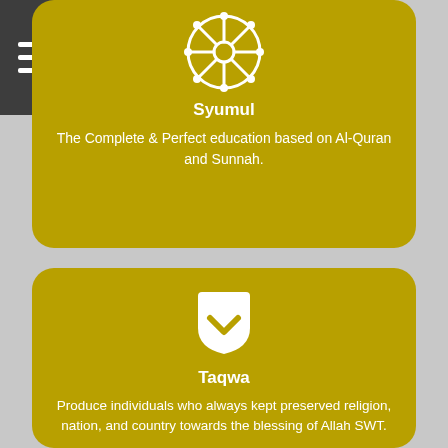[Figure (other): Hamburger menu icon (three horizontal white lines) in dark grey square at top left]
[Figure (other): Circular emblem icon with spoke/gear design in white on golden-yellow card labeled Syumul]
Syumul
The Complete & Perfect education based on Al-Quran and Sunnah.
[Figure (other): Shield/pocket icon with checkmark in white on golden-yellow card labeled Taqwa]
Taqwa
Produce individuals who always kept preserved religion, nation, and country towards the blessing of Allah SWT.